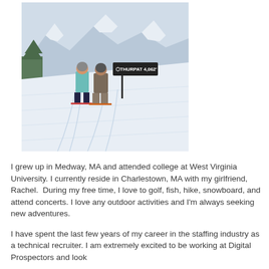[Figure (photo): Two people in ski gear standing on a snowy ski slope with mountains in the background. A sign reads 'THURPAT 4,062'' is visible next to them.]
I grew up in Medway, MA and attended college at West Virginia University. I currently reside in Charlestown, MA with my girlfriend, Rachel.  During my free time, I love to golf, fish, hike, snowboard, and attend concerts. I love any outdoor activities and I'm always seeking new adventures.
I have spent the last few years of my career in the staffing industry as a technical recruiter. I am extremely excited to be working at Digital Prospectors and look